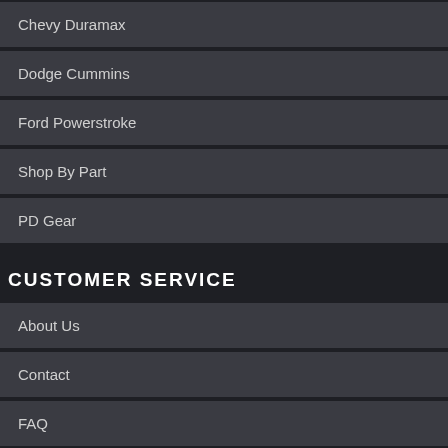Chevy Duramax
Dodge Cummins
Ford Powerstroke
Shop By Part
PD Gear
CUSTOMER SERVICE
About Us
Contact
FAQ
Privacy Policy
Shipping & Returns